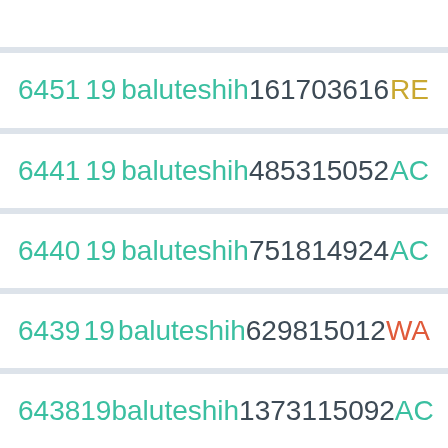| ID | Num | Name | V1 | V2 | Status |
| --- | --- | --- | --- | --- | --- |
| 6451 | 19 | baluteshih | 16170 | 3616 | RE |
| 6441 | 19 | baluteshih | 4853 | 15052 | AC |
| 6440 | 19 | baluteshih | 7518 | 14924 | AC |
| 6439 | 19 | baluteshih | 6298 | 15012 | WA |
| 6438 | 19 | baluteshih | 13731 | 15092 | AC |